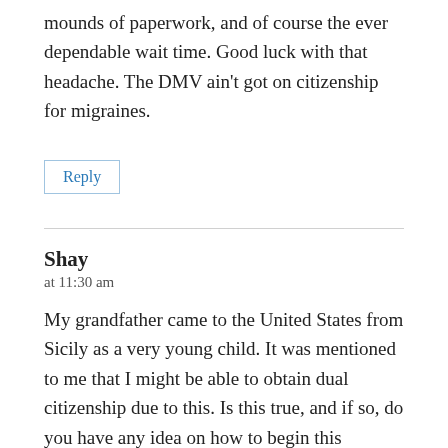mounds of paperwork, and of course the ever dependable wait time. Good luck with that headache. The DMV ain't got on citizenship for migraines.
Reply
Shay
at 11:30 am
My grandfather came to the United States from Sicily as a very young child. It was mentioned to me that I might be able to obtain dual citizenship due to this. Is this true, and if so, do you have any idea on how to begin this